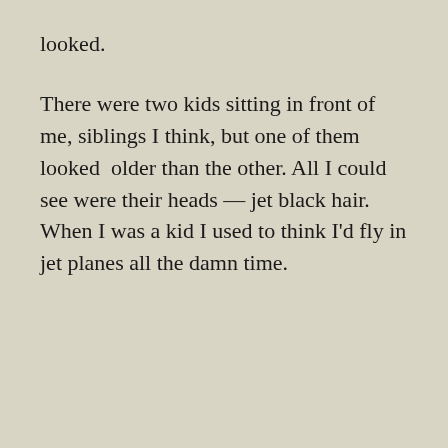looked.
There were two kids sitting in front of me, siblings I think, but one of them looked  older than the other. All I could see were their heads — jet black hair. When I was a kid I used to think I'd fly in jet planes all the damn time.